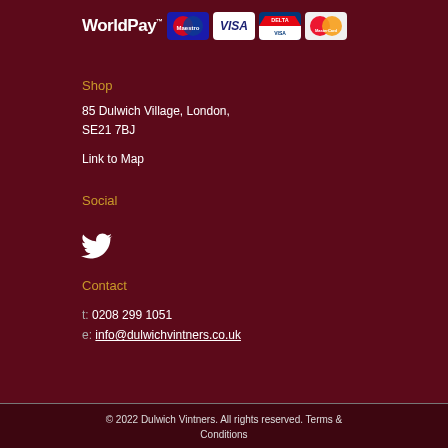[Figure (logo): WorldPay logo with payment card badges: Maestro, Visa, Delta, MasterCard]
Shop
85 Dulwich Village, London, SE21 7BJ
Link to Map
Social
[Figure (illustration): Twitter bird icon]
Contact
t: 0208 299 1051
e: info@dulwichvintners.co.uk
© 2022 Dulwich Vintners. All rights reserved. Terms & Conditions